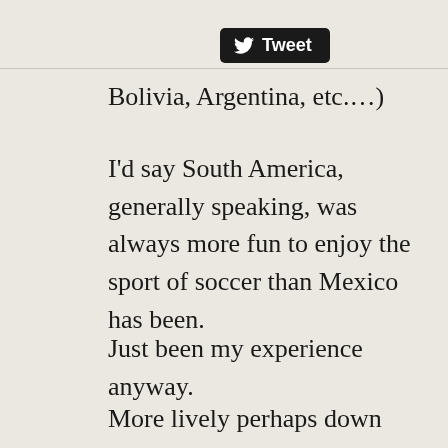[Figure (logo): Twitter Tweet button — black rounded rectangle with white Twitter bird icon and the word 'Tweet' in white bold sans-serif]
Bolivia, Argentina, etc.…)
I'd say South America, generally speaking, was always more fun to enjoy the sport of soccer than Mexico has been.
Just been my experience anyway.
More lively perhaps down there.